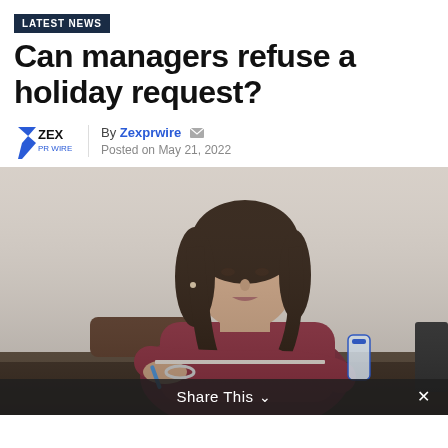LATEST NEWS
Can managers refuse a holiday request?
By Zexprwire
Posted on May 21, 2022
[Figure (photo): A woman with dark hair wearing a maroon top, sitting at a desk and writing, with a water bottle and monitor visible in the background.]
Share This